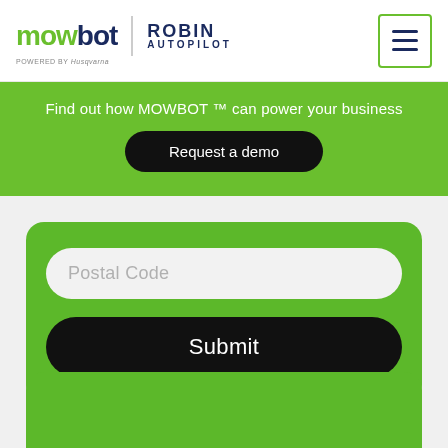[Figure (logo): Mowbot logo with green 'mow' and dark blue 'bot' text, followed by a divider and 'ROBIN AUTOPILOT' text in dark blue. Powered by Husqvarna text below. Navigation hamburger menu icon in top right with green border.]
Find out how MOWBOT ™ can power your business
Request a demo
Postal Code
Submit